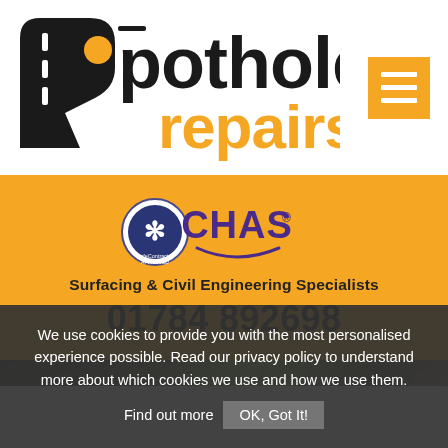[Figure (logo): Pothole Repairs logo — black road/arrow shape on left, bold text 'pothole' in black and 'repairs' in orange, with an orange dot on the 'o']
[Figure (logo): CHAS SafeContractor Approved badge — circular blue badge on left with snowflake and 'SafeContractor Approved' text, next to purple CHAS wordmark with smile curve]
Surfacing & Civil Engineering Specialists
01784 892698
[Figure (photo): Partial photo strip showing workers in high-visibility clothing on a road surface]
We use cookies to provide you with the most personalised experience possible. Read our privacy policy to understand more about which cookies we use and how we use them. Find out more  OK, Got It!